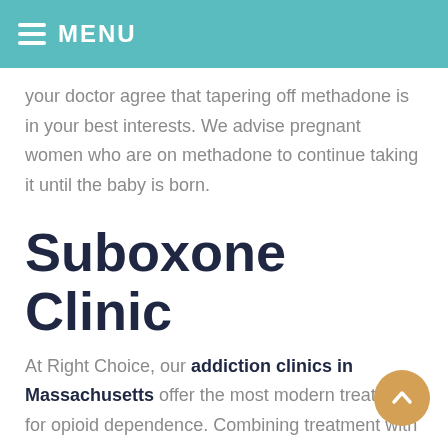MENU
your doctor agree that tapering off methadone is in your best interests. We advise pregnant women who are on methadone to continue taking it until the baby is born.
Suboxone Clinic
At Right Choice, our addiction clinics in Massachusetts offer the most modern treatment for opioid dependence. Combining treatment with substance abuse counseling and medication-assisted